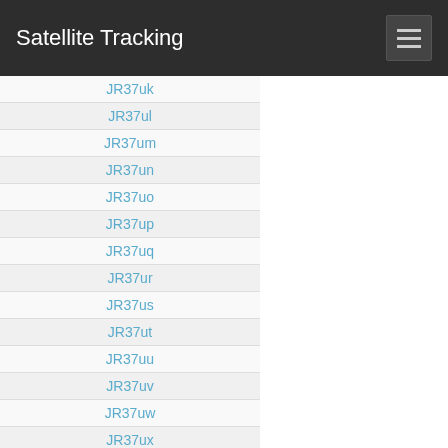Satellite Tracking
JR37uk
JR37ul
JR37um
JR37un
JR37uo
JR37up
JR37uq
JR37ur
JR37us
JR37ut
JR37uu
JR37uv
JR37uw
JR37ux
JR37va
JR37vb
JR37vc
JR37vd